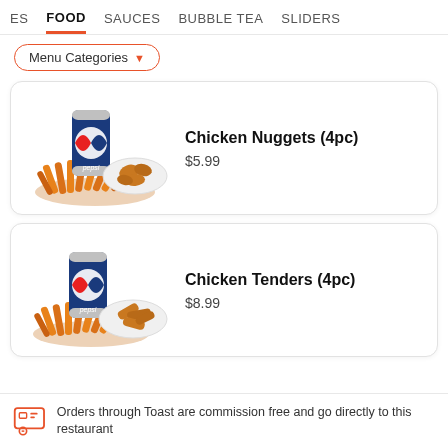ES   FOOD   SAUCES   BUBBLE TEA   SLIDERS
Menu Categories ▼
[Figure (photo): Pepsi can with french fries and chicken nuggets on a white plate — menu item image for Chicken Nuggets (4pc)]
Chicken Nuggets (4pc)
$5.99
[Figure (photo): Pepsi can with french fries and chicken tenders on a white plate — menu item image for Chicken Tenders (4pc)]
Chicken Tenders (4pc)
$8.99
Orders through Toast are commission free and go directly to this restaurant